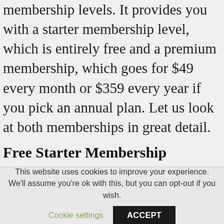membership levels. It provides you with a starter membership level, which is entirely free and a premium membership, which goes for $49 every month or $359 every year if you pick an annual plan. Let us look at both memberships in great detail.
Free Starter Membership
If you pick the free starter membership, you will not have to register for a free account with a one-day or 14-day trial period and later pay for it. Nobody will ask you to pay anything, and you do
This website uses cookies to improve your experience. We'll assume you're ok with this, but you can opt-out if you wish.
Cookie settings
ACCEPT